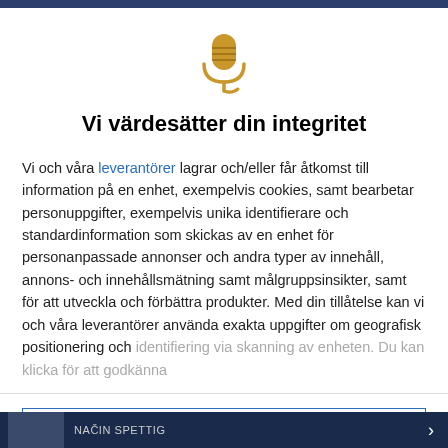[Figure (illustration): Gold microphone icon with a cord/stand at the bottom, centered at the top of the modal dialog]
Vi värdesätter din integritet
Vi och våra leverantörer lagrar och/eller får åtkomst till information på en enhet, exempelvis cookies, samt bearbetar personuppgifter, exempelvis unika identifierare och standardinformation som skickas av en enhet för personanpassade annonser och andra typer av innehåll, annons- och innehållsmätning samt målgruppsinsikter, samt för att utveckla och förbättra produkter. Med din tillåtelse kan vi och våra leverantörer använda exakta uppgifter om geografisk positionering och identifiering via skanning av enheten. Du kan klicka för att godkänna
GODKÄNN
FLER ALTERNATIV